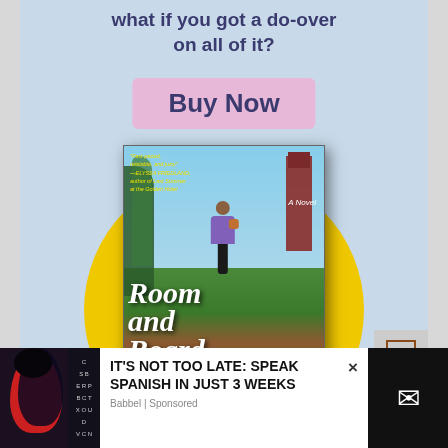what if you got a do-over on all of it?
Buy Now
[Figure (photo): Book cover for 'Room and Board' by Miriam Parker. Shows a person in a purple outfit walking along a brick path toward a tall tower building on a campus. The title 'Room and Board' is in large white script. Author name 'MIRIAM PARKER' in yellow at the bottom. A blurb in yellow italic text at top left reads 'Fast-paced, relatable, and juicy – ELYSSA FRIEDLAND, author of Last Summer at the Golden Hotel'. 'A Novel' appears in the upper right.]
IT'S NOT TOO LATE: SPEAK SPANISH IN JUST 3 WEEKS
Babbel | Sponsored